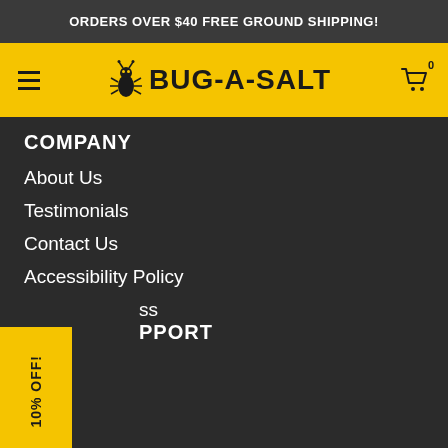ORDERS OVER $40 FREE GROUND SHIPPING!
[Figure (logo): Bug-A-Salt logo with bug mascot and bold text BUG-A-SALT on yellow navigation bar with hamburger menu and shopping cart icon showing 0 items]
COMPANY
About Us
Testimonials
Contact Us
Accessibility Policy
ss
PPORT
10% OFF!